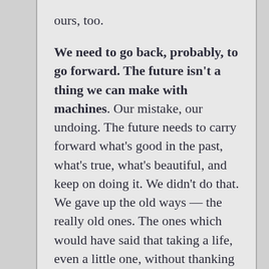ours, too.

We need to go back, probably, to go forward. The future isn't a thing we can make with machines. Our mistake, our undoing. The future needs to carry forward what's good in the past, what's true, what's beautiful, and keep on doing it. We didn't do that. We gave up the old ways — the really old ones. The ones which would have said that taking a life, even a little one, without thanking it, without permission from it, being...